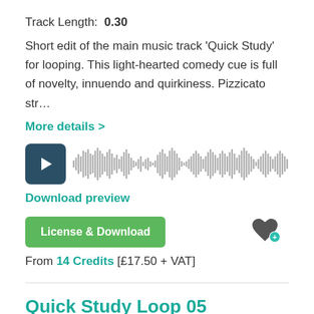Track Length:  0.30
Short edit of the main music track 'Quick Study' for looping. This light-hearted comedy cue is full of novelty, innuendo and quirkiness. Pizzicato str…
More details >
[Figure (other): Audio player with play button and waveform visualization]
Download preview
License & Download
From 14 Credits [£17.50 + VAT]
Quick Study Loop 05